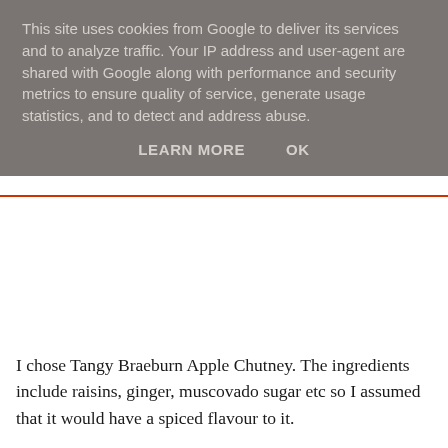This site uses cookies from Google to deliver its services and to analyze traffic. Your IP address and user-agent are shared with Google along with performance and security metrics to ensure quality of service, generate usage statistics, and to detect and address abuse.
LEARN MORE    OK
I chose Tangy Braeburn Apple Chutney. The ingredients include raisins, ginger, muscovado sugar etc so I assumed that it would have a spiced flavour to it.